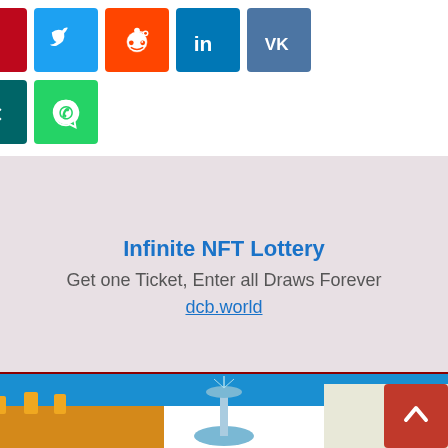[Figure (screenshot): Social sharing buttons row 1: Facebook (blue), Pinterest (red), Twitter (cyan), Reddit (orange), LinkedIn (blue), VK (steel blue)]
[Figure (screenshot): Social sharing buttons row 2: StumbleUpon (orange-red), Xing (dark teal), WhatsApp (green)]
[Figure (infographic): Advertisement box with light mauve background. Title: Infinite NFT Lottery. Subtitle: Get one Ticket, Enter all Draws Forever. Link: dcb.world]
[Figure (photo): Photo of a Mexican city plaza with ornate yellow colonial building, fountain in foreground, and blue sky. Text 'COOL' partially visible at bottom.]
[Figure (other): Red scroll-to-top button with upward chevron arrow in bottom right corner]